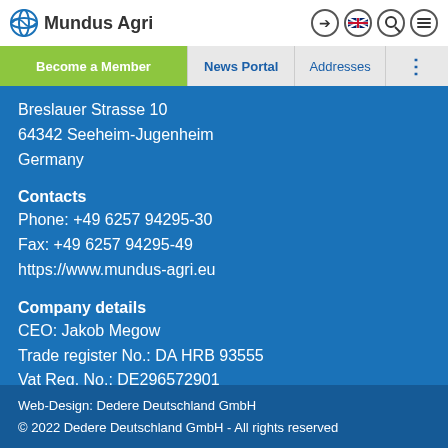Mundus Agri
Become a Member | News Portal | Addresses
Breslauer Strasse 10
64342 Seeheim-Jugenheim
Germany
Contacts
Phone: +49 6257 94295-30
Fax: +49 6257 94295-49
https://www.mundus-agri.eu
Company details
CEO: Jakob Megow
Trade register No.: DA HRB 93555
Vat Reg. No.: DE296572901
Web-Design: Dedere Deutschland GmbH
© 2022 Dedere Deutschland GmbH - All rights reserved